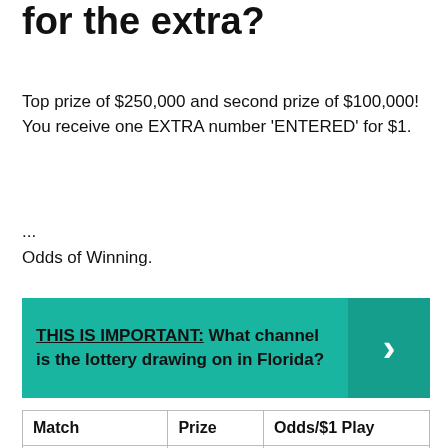for the extra?
Top prize of $250,000 and second prize of $100,000! You receive one EXTRA number 'ENTERED' for $1.
...
Odds of Winning.
[Figure (infographic): Teal banner with bold text: THIS IS IMPORTANT: What channel is the lottery drawing on in Florida? with a right-arrow chevron button on the right side.]
| Match | Prize | Odds/$1 Play |
| --- | --- | --- |
| Last 5 digits | $1,000 | 1: 111,111 |
| Last 4 digits | $100 | 1: 11,111 |